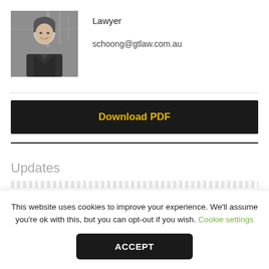[Figure (photo): Black and white portrait photo of a young woman lawyer smiling, wearing dark clothing, with a blurred office/window background]
Lawyer
schoong@gtlaw.com.au
[Figure (other): Download PDF button — dark background with bold yellow text 'Download PDF']
Updates
This website uses cookies to improve your experience. We'll assume you're ok with this, but you can opt-out if you wish. Cookie settings
ACCEPT